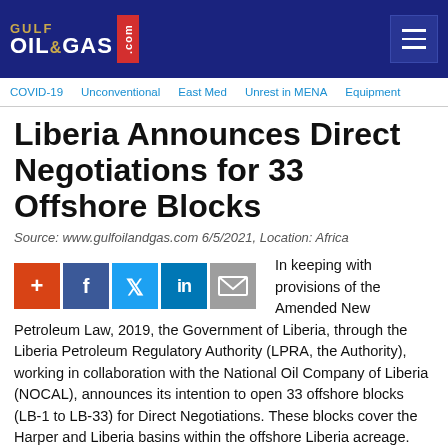GULF OIL & GAS .com
Liberia Announces Direct Negotiations for 33 Offshore Blocks
Source: www.gulfoilandgas.com 6/5/2021, Location: Africa
[Figure (other): Social share buttons: add (+), Facebook, Twitter, LinkedIn, Email]
In keeping with provisions of the Amended New Petroleum Law, 2019, the Government of Liberia, through the Liberia Petroleum Regulatory Authority (LPRA, the Authority), working in collaboration with the National Oil Company of Liberia (NOCAL), announces its intention to open 33 offshore blocks (LB-1 to LB-33) for Direct Negotiations. These blocks cover the Harper and Liberia basins within the offshore Liberia acreage.